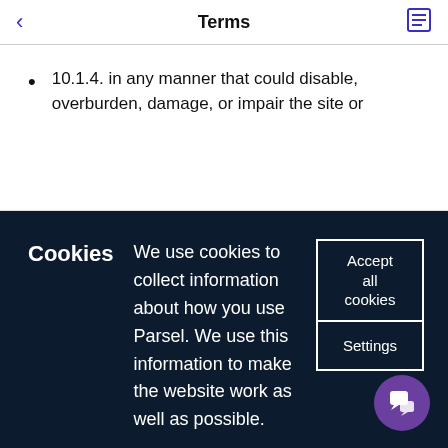Terms
10.1.4. in any manner that could disable, overburden, damage, or impair the site or
Cookies  We use cookies to collect information about how you use Parsel. We use this information to make the website work as well as possible.